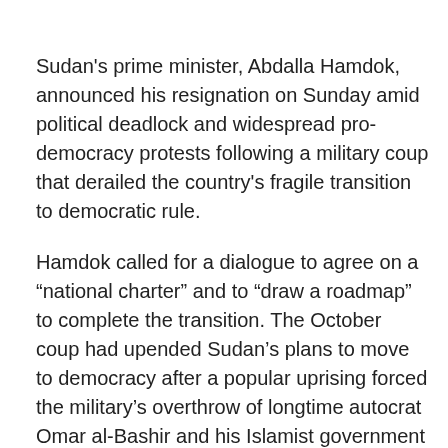Sudan's prime minister, Abdalla Hamdok, announced his resignation on Sunday amid political deadlock and widespread pro-democracy protests following a military coup that derailed the country's fragile transition to democratic rule.
Hamdok called for a dialogue to agree on a “national charter” and to “draw a roadmap” to complete the transition. The October coup had upended Sudan’s plans to move to democracy after a popular uprising forced the military’s overthrow of longtime autocrat Omar al-Bashir and his Islamist government in April 2019.
On Sunday, prior to his resignation, Sudanese security forces violently dispersed pro-democracy protesters, killing at least two people, a medical group said. The demonstrations were the latest to protest against a military